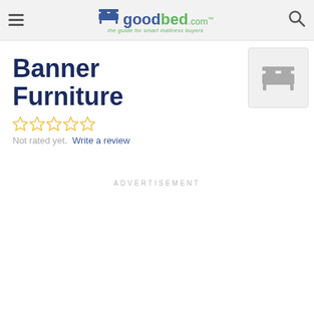goodbed.com — the guide for smart mattress buyers
Banner Furniture
[Figure (logo): Store logo placeholder — gray bed icon on light gray rounded square background]
Not rated yet. Write a review
ADVERTISEMENT